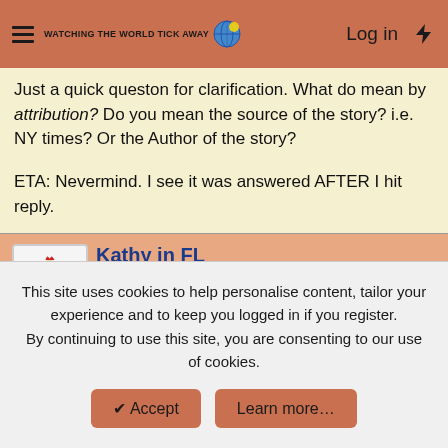Watching the World Tick Away — Log in
Just a quick queston for clarification. What do mean by attribution? Do you mean the source of the story? i.e. NY times? Or the Author of the story?

ETA: Nevermind. I see it was answered AFTER I hit reply.
Kathy in FL
TB Fanatic
Nov 25, 2012  #7
This site uses cookies to help personalise content, tailor your experience and to keep you logged in if you register. By continuing to use this site, you are consenting to our use of cookies.